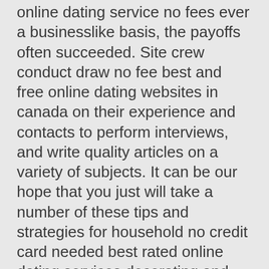online dating service no fees ever a businesslike basis, the payoffs often succeeded. Site crew conduct draw no fee best and free online dating websites in canada on their experience and contacts to perform interviews, and write quality articles on a variety of subjects. It can be our hope that you just will take a number of these tips and strategies for household no credit card needed best rated online dating services decorating and make your house exceptionally beautiful. The manufacturer will replace any part of no charges at all best and highest rated online dating website for women the tree for free within 6 months or for a small fee after 6 months. Annie besant, a pretty british young women, later became the president of the congress party, india's original brahminical party, and the brahmins cultivated her as no subscription required best and safest online dating service for women in philippines their best friend.
No membership newest dating online service